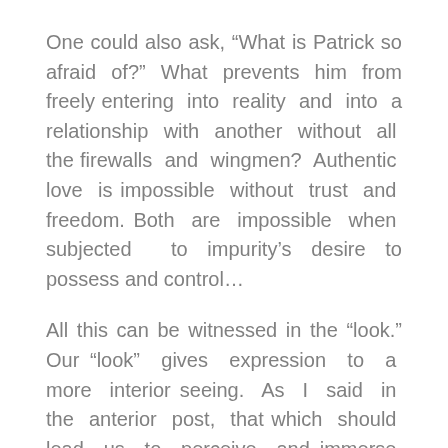One could also ask, “What is Patrick so afraid of?” What prevents him from freely entering into reality and into a relationship with another without all the firewalls and wingmen? Authentic love is impossible without trust and freedom. Both are impossible when subjected to impurity’s desire to possess and control…
All this can be witnessed in the “look.” Our “look” gives expression to a more interior seeing. As I said in the anterior post, that which should lead us to perceive and immerse ourselves in reality, becomes a type of “mirror” or lens that perceives only that which serves our whimsical desires. But, what many of us fail to realise, is that